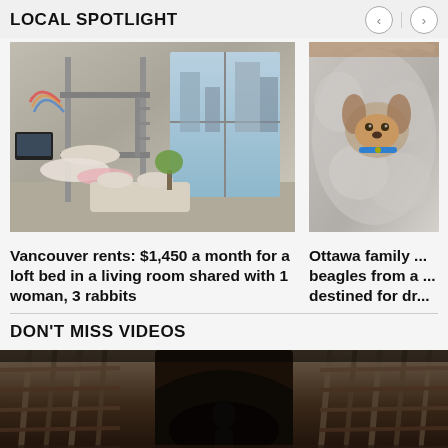LOCAL SPOTLIGHT
[Figure (photo): Interior photo of a small apartment with a metal loft bunk bed, pillows and blankets scattered, large windows overlooking city buildings, colorful art on wall]
Vancouver rents: $1,450 a month for a loft bed in a living room shared with 1 woman, 3 rabbits
[Figure (photo): Partial photo of a small fluffy dog resting in a plush pet bed, blue collar visible]
Ottawa family ... beagles from a ... destined for dr...
DON'T MISS VIDEOS
[Figure (photo): Video thumbnail showing a dark structure that appears to be a rustic wooden/woven enclosure or cage with an opening]